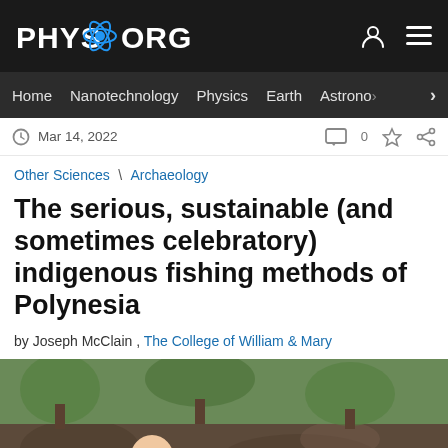PHYS.ORG
Home Nanotechnology Physics Earth Astronomy >
Mar 14, 2022
Other Sciences \ Archaeology
The serious, sustainable (and sometimes celebratory) indigenous fishing methods of Polynesia
by Joseph McClain , The College of William & Mary
[Figure (photo): Two people, one smiling with long hair, writing in a notebook at an outdoor archaeological dig site.]